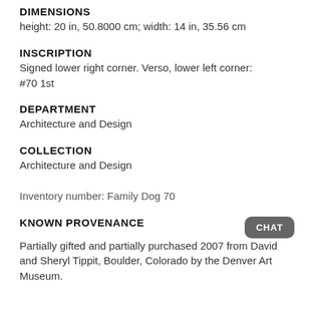DIMENSIONS
height: 20 in, 50.8000 cm; width: 14 in, 35.56 cm
INSCRIPTION
Signed lower right corner. Verso, lower left corner: #70 1st
DEPARTMENT
Architecture and Design
COLLECTION
Architecture and Design
Inventory number: Family Dog 70
KNOWN PROVENANCE
Partially gifted and partially purchased 2007 from David and Sheryl Tippit, Boulder, Colorado by the Denver Art Museum.